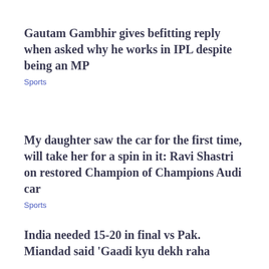Gautam Gambhir gives befitting reply when asked why he works in IPL despite being an MP
Sports
My daughter saw the car for the first time, will take her for a spin in it: Ravi Shastri on restored Champion of Champions Audi car
Sports
India needed 15-20 in final vs Pak. Miandad said 'Gaadi kyu dekh raha